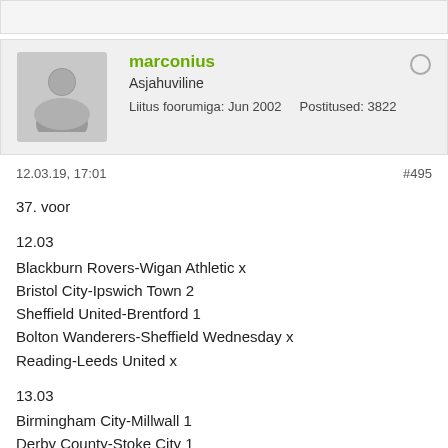[Figure (other): Top gray bar decoration]
marconius
Asjahuviline
Liitus foorumiga: Jun 2002    Postitused: 3822
12.03.19, 17:01    #495
37. voor

12.03
Blackburn Rovers-Wigan Athletic x
Bristol City-Ipswich Town 2
Sheffield United-Brentford 1
Bolton Wanderers-Sheffield Wednesday x
Reading-Leeds United x

13.03
Birmingham City-Millwall 1
Derby County-Stoke City 1
Middlesbrough-Preston North End 1
Norwich City-Hull City 1
Nottingham Forest-Aston Villa x
Queens Park Rangers-Rotherham United 1